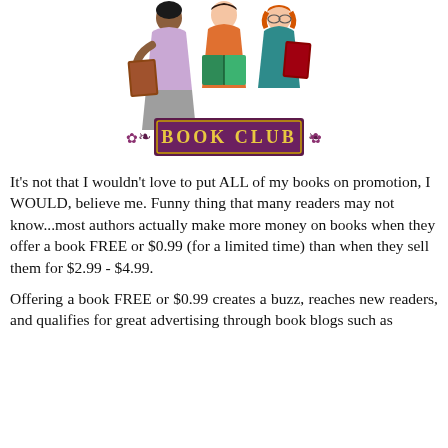[Figure (illustration): Three women reading books together, with a decorative purple and gold 'BOOK CLUB' banner below them.]
It's not that I wouldn't love to put ALL of my books on promotion, I WOULD, believe me. Funny thing that many readers may not know...most authors actually make more money on books when they offer a book FREE or $0.99 (for a limited time) than when they sell them for $2.99 - $4.99.
Offering a book FREE or $0.99 creates a buzz, reaches new readers, and qualifies for great advertising through book blogs such as BookBub, NetGalley, and BookBaby...